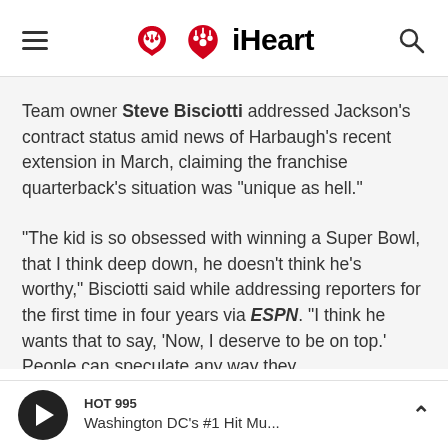iHeart
Team owner Steve Bisciotti addressed Jackson's contract status amid news of Harbaugh's recent extension in March, claiming the franchise quarterback's situation was "unique as hell."
"The kid is so obsessed with winning a Super Bowl, that I think deep down, he doesn't think he's worthy," Bisciotti said while addressing reporters for the first time in four years via ESPN. "I think he wants that to say, 'Now, I deserve to be on top.' People can speculate any way they
HOT 995 Washington DC's #1 Hit Mu...